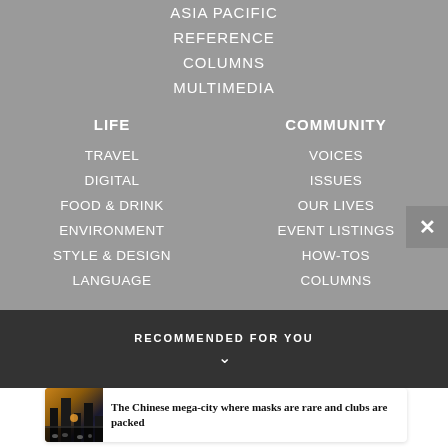ASIA PACIFIC
REFERENCE
COLUMNS
MULTIMEDIA
LIFE
TRAVEL
DIGITAL
FOOD & DRINK
ENVIRONMENT
STYLE & DESIGN
LANGUAGE
COMMUNITY
VOICES
ISSUES
OUR LIVES
EVENT LISTINGS
HOW-TOS
COLUMNS
RECOMMENDED FOR YOU
The Chinese mega-city where masks are rare and clubs are packed